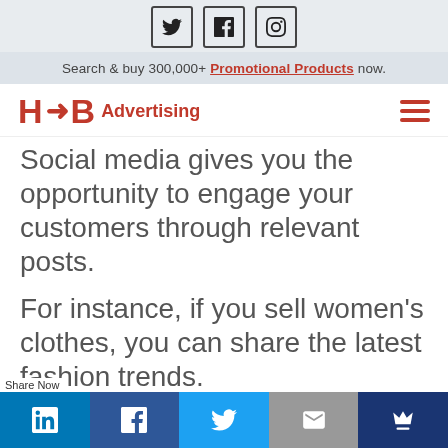Social media icons: Twitter, Facebook, Instagram
Search & buy 300,000+ Promotional Products now.
[Figure (logo): HB Advertising logo with red H arrow B and Advertising text, plus hamburger menu icon]
Social media gives you the opportunity to engage your customers through relevant posts.
For instance, if you sell women’s clothes, you can share the latest fashion trends.
If yo
Share Now - LinkedIn, Facebook, Twitter, Email, Crown share buttons